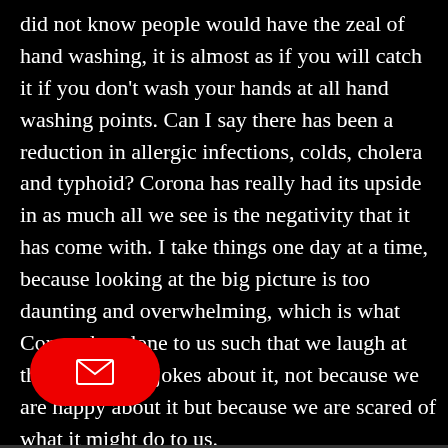did not know people would have the zeal of hand washing, it is almost as if you will catch it if you don't wash your hands at all hand washing points. Can I say there has been a reduction in allergic infections, colds, cholera and typhoid? Corona has really had its upside in as much all we see is the negativity that it has come with. I take things one day at a time, because looking at the big picture is too daunting and overwhelming, which is what Corona has done to us such that we laugh at the slightest of jokes about it, not because we are happy about it but because we are scared of what it might do to us.
[Figure (other): Red rounded rectangle button with a white envelope/mail icon]